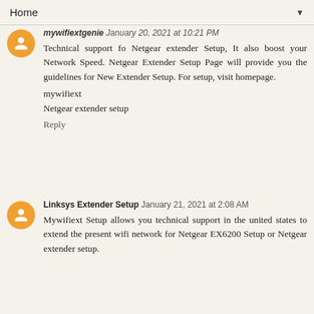Home
mywifiextgenie January 20, 2021 at 10:21 PM
Technical support fo Netgear extender Setup, It also boost your Network Speed. Netgear Extender Setup Page will provide you the guidelines for New Extender Setup. For setup, visit homepage.
mywifiext
Netgear extender setup
Reply
Linksys Extender Setup January 21, 2021 at 2:08 AM
Mywifiext Setup allows you technical support in the united states to extend the present wifi network for Netgear EX6200 Setup or Netgear extender setup.